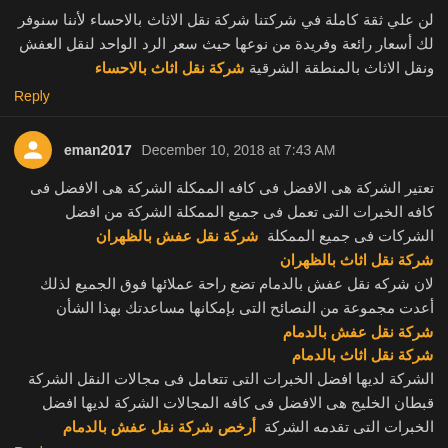لن علي ثقة كاملة في شركتنا شركة نقل الاثاث بالاحساء لأننا سنوفر لك أسعار رائعة وفريدة من نوعها حيث سعر الرد الواحد لنقل العفش ونقل الاثاث بالمنطقة الشرقية شركة نقل اثاث بالاحساء
Reply
eman2017  December 10, 2018 at 7:43 AM
تعتير الشركة هى الافضل فى كافه الممكلة الشركة هى الافضل فى كافه الخبرات التى تعمل فى جميع الممكلة الشركة من افضل الشركات فى جميع الممكلة  شركة نقل عفش بالظهران  شركة نقل اثاث بالظهران
لان شركه نقل عفش بالدمام تضع راحة عملائها فوق الجميع لذلك أعدت مجموعة من النصائح التى بإمكانها مساعدتك بهذا الشأن  شركة نقل عفش بالدمام  شركة نقل اثاث بالدمام
الشركة لديها افضل الخبرات التى تتعامل فى مجالات النقل الشركة قبطان الخليج هى الافضل فى كافه المجالات الشركة لديها افضل الخبرات التى تقدمه الشركة  أرخص شركة نقل عفش بالدمام
Reply